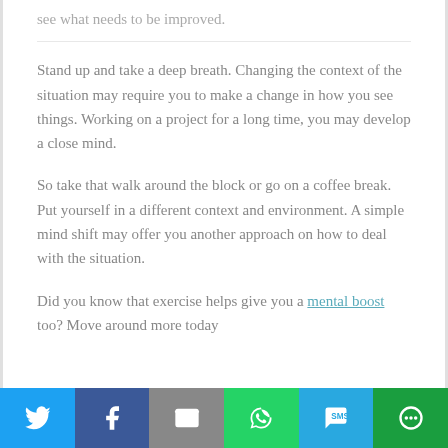see what needs to be improved.
Stand up and take a deep breath. Changing the context of the situation may require you to make a change in how you see things. Working on a project for a long time, you may develop a close mind.
So take that walk around the block or go on a coffee break. Put yourself in a different context and environment. A simple mind shift may offer you another approach on how to deal with the situation.
Did you know that exercise helps give you a mental boost too? Move around more today
[Figure (infographic): Social sharing bar with six buttons: Twitter (blue), Facebook (dark blue), Email (gray), WhatsApp (green), SMS (light blue), More (green)]